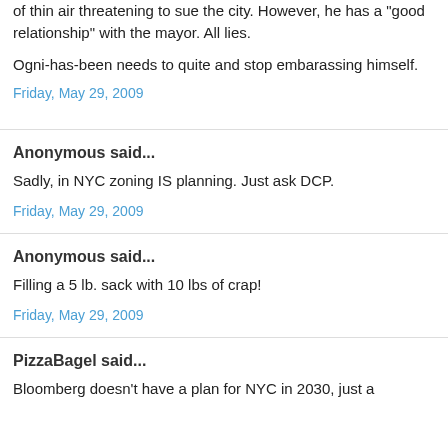of thin air threatening to sue the city. However, he has a "good relationship" with the mayor. All lies.
Ogni-has-been needs to quite and stop embarassing himself.
Friday, May 29, 2009
Anonymous said...
Sadly, in NYC zoning IS planning. Just ask DCP.
Friday, May 29, 2009
Anonymous said...
Filling a 5 lb. sack with 10 lbs of crap!
Friday, May 29, 2009
PizzaBagel said...
Bloomberg doesn't have a plan for NYC in 2030, just a